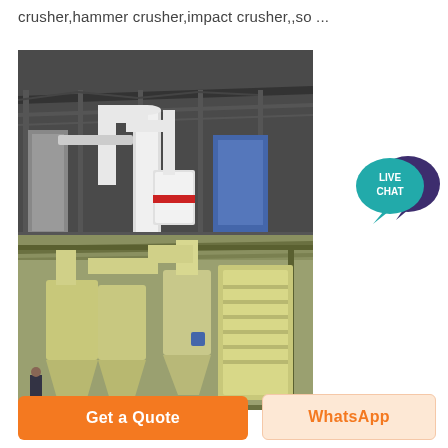crusher,hammer crusher,impact crusher,,so ...
[Figure (photo): Two industrial grinding/milling machines inside a factory hall. Top half shows white vertical mills with pipes and conveyors under a steel roof. Bottom half shows cream/yellow colored cyclone separators and dust collector units inside a warehouse.]
[Figure (illustration): Live Chat button: teal speech bubble with dark purple chat icon overlay, text 'LIVE CHAT' in white.]
Get a Quote
WhatsApp